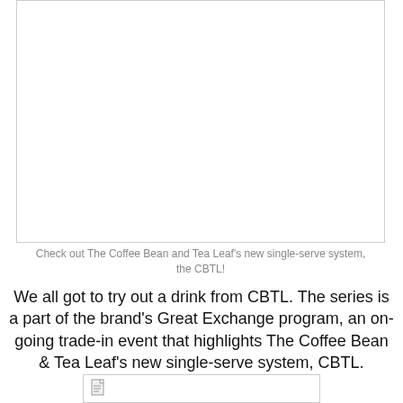[Figure (photo): Image placeholder showing The Coffee Bean and Tea Leaf's new single-serve system, the CBTL. White rectangular box with border.]
Check out The Coffee Bean and Tea Leaf's new single-serve system, the CBTL!
We all got to try out a drink from CBTL. The series is a part of the brand's Great Exchange program, an on-going trade-in event that highlights The Coffee Bean & Tea Leaf's new single-serve system, CBTL.
[Figure (other): Small document icon inside a bordered box at the bottom of the page.]